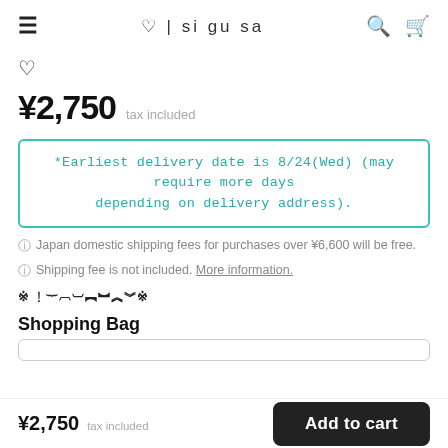♡ | si gu sa
♡
¥2,750  tax included
*Earliest delivery date is 8/24(Wed) (may require more days depending on delivery address).
ⓘ Japan domestic shipping fees for purchases over ¥6,600 will be free.
ⓘ Shipping fee is not included. More information.
※ ？？？？？？？？※
Shopping Bag
¥2,750  tax included  Add to cart